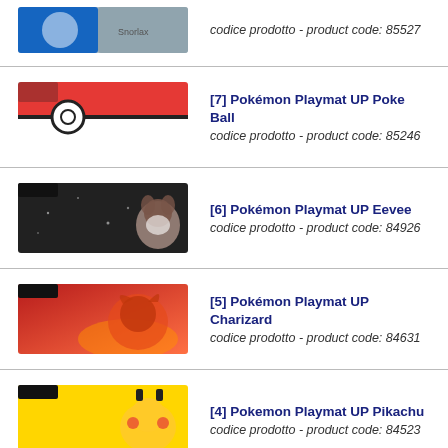[Figure (photo): Snorlax playmat product image (partial, top of page)]
codice prodotto - product code: 85527
[Figure (photo): Pokémon Playmat UP Poke Ball product image]
[7] Pokémon Playmat UP Poke Ball
codice prodotto - product code: 85246
[Figure (photo): Pokémon Playmat UP Eevee product image]
[6] Pokémon Playmat UP Eevee
codice prodotto - product code: 84926
[Figure (photo): Pokémon Playmat UP Charizard product image]
[5] Pokémon Playmat UP Charizard
codice prodotto - product code: 84631
[Figure (photo): Pokemon Playmat UP Pikachu product image]
[4] Pokemon Playmat UP Pikachu
codice prodotto - product code: 84523
[Figure (photo): Playmat UP Xerneas & Yveltal product image (partial)]
Playmat UP Xerneas & Yveltal